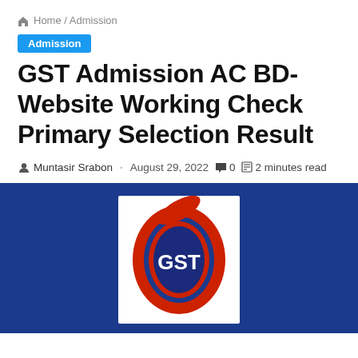🏠 Home / Admission
Admission
GST Admission AC BD-Website Working Check Primary Selection Result
Muntasir Srabon · August 29, 2022 · 0 · 2 minutes read
[Figure (logo): GST logo — red and dark-blue oval ring on white background with 'GST' text in white, set against a solid dark blue rectangular banner background]